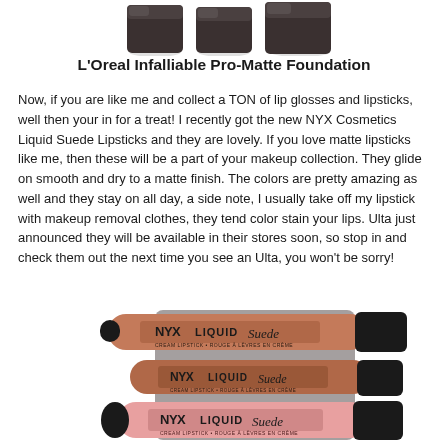[Figure (photo): Three dark foundation jars (L'Oreal Infalliable Pro-Matte Foundation) partially visible at the top of the page]
L'Oreal Infalliable Pro-Matte Foundation
Now, if you are like me and collect a TON of lip glosses and lipsticks, well then your in for a treat!  I recently got the new NYX Cosmetics Liquid Suede Lipsticks and they are lovely. If you love matte lipsticks like me, then these will be a part of your makeup collection.  They glide on smooth and dry to a matte finish. The colors are pretty amazing as well and they stay on all day, a side note, I usually take off my lipstick with makeup removal clothes, they tend color stain your lips. Ulta just announced they will be available in their stores soon, so stop in and check them out the next time you see an Ulta, you won't be sorry!
[Figure (photo): NYX Liquid Suede Cream Lipsticks stacked on top of each other showing mauve/brown and pink shades with black caps]